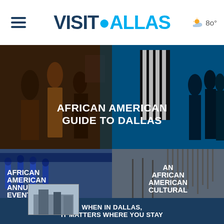VISITDALLAS — navigation header with hamburger menu and weather 80°
[Figure (photo): Two-panel hero image: left panel shows people at an art gallery in warm lighting, right panel shows figures in blue-tinted gallery with striped artwork. White text overlay reads AFRICAN AMERICAN GUIDE TO DALLAS]
AFRICAN AMERICAN GUIDE TO DALLAS
[Figure (photo): Marching band in blue uniforms performing outdoors in winter with text overlay AFRICAN AMERICAN ANNUAL EVENTS IN...]
AFRICAN AMERICAN ANNUAL EVENTS IN
[Figure (photo): Tall metal sculptures or poles in a field, gray/overcast sky, with text overlay AN AFRICAN AMERICAN CULTURAL ITINERARY]
AN AFRICAN AMERICAN CULTURAL ITINERARY
WHEN IN DALLAS, IT MATTERS WHERE YOU STAY